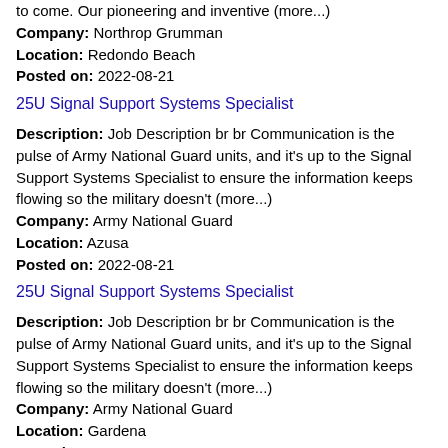to come. Our pioneering and inventive (more...)
Company: Northrop Grumman
Location: Redondo Beach
Posted on: 2022-08-21
25U Signal Support Systems Specialist
Description: Job Description br br Communication is the pulse of Army National Guard units, and it's up to the Signal Support Systems Specialist to ensure the information keeps flowing so the military doesn't (more...)
Company: Army National Guard
Location: Azusa
Posted on: 2022-08-21
25U Signal Support Systems Specialist
Description: Job Description br br Communication is the pulse of Army National Guard units, and it's up to the Signal Support Systems Specialist to ensure the information keeps flowing so the military doesn't (more...)
Company: Army National Guard
Location: Gardena
Posted on: 2022-08-21
25U Signal Support Systems Specialist
Description: Job Description br br Communication is the pulse of Army National Guard units, and it's up to the Signal Support Systems Specialist to ensure the information keeps flowing so the military doesn't (more...)